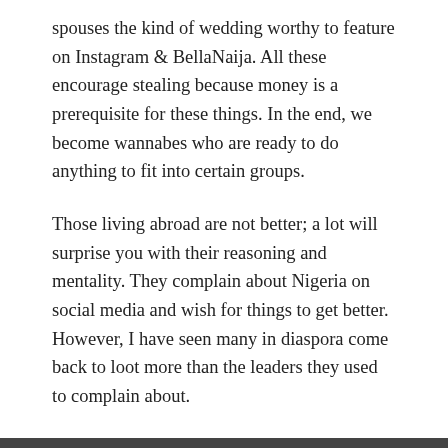spouses the kind of wedding worthy to feature on Instagram & BellaNaija. All these encourage stealing because money is a prerequisite for these things. In the end, we become wannabes who are ready to do anything to fit into certain groups.
Those living abroad are not better; a lot will surprise you with their reasoning and mentality. They complain about Nigeria on social media and wish for things to get better. However, I have seen many in diaspora come back to loot more than the leaders they used to complain about.
Nevertheless I like surprises and I would love it if my generation could spring a surprise on me and prove me wrong.
AUGUST 31, 2015
Overthinking kills